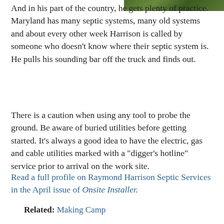[Figure (photo): Partial view of a tree or outdoor scene in the top-right corner of the page]
And in his part of the country, he gets plenty of practice. Maryland has many septic systems, many old systems and about every other week Harrison is called by someone who doesn’t know where their septic system is. He pulls his sounding bar off the truck and finds out.
There is a caution when using any tool to probe the ground. Be aware of buried utilities before getting started. It’s always a good idea to have the electric, gas and cable utilities marked with a “digger’s hotline” service prior to arrival on the work site.
Read a full profile on Raymond Harrison Septic Services in the April issue of Onsite Installer.
Related: Making Camp